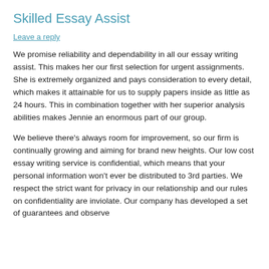Skilled Essay Assist
Leave a reply
We promise reliability and dependability in all our essay writing assist. This makes her our first selection for urgent assignments. She is extremely organized and pays consideration to every detail, which makes it attainable for us to supply papers inside as little as 24 hours. This in combination together with her superior analysis abilities makes Jennie an enormous part of our group.
We believe there’s always room for improvement, so our firm is continually growing and aiming for brand new heights. Our low cost essay writing service is confidential, which means that your personal information won’t ever be distributed to 3rd parties. We respect the strict want for privacy in our relationship and our rules on confidentiality are inviolate. Our company has developed a set of guarantees and observe